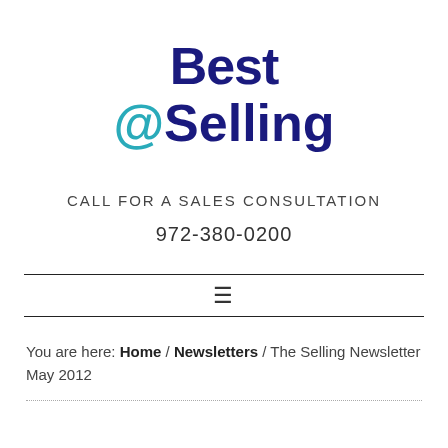[Figure (logo): Best @Selling logo — 'Best' in dark navy bold, '@Selling' with '@' in teal and 'Selling' in dark navy bold]
CALL FOR A SALES CONSULTATION
972-380-0200
You are here: Home / Newsletters / The Selling Newsletter May 2012